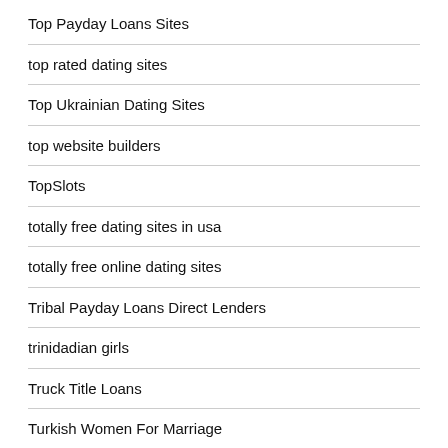Top Payday Loans Sites
top rated dating sites
Top Ukrainian Dating Sites
top website builders
TopSlots
totally free dating sites in usa
totally free online dating sites
Tribal Payday Loans Direct Lenders
trinidadian girls
Truck Title Loans
Turkish Women For Marriage